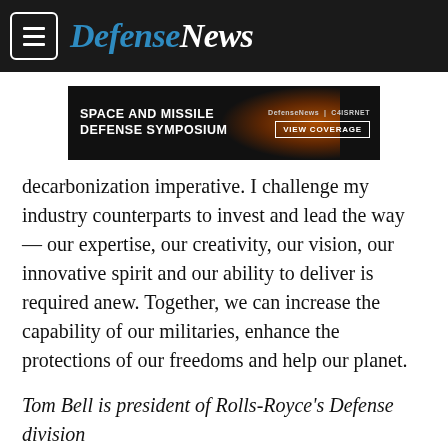DefenseNews
[Figure (other): Advertisement banner for Space and Missile Defense Symposium, presented by DefenseNews and C4ISRNET, with a VIEW COVERAGE button, dark background with orange glow effect]
decarbonization imperative. I challenge my industry counterparts to invest and lead the way — our expertise, our creativity, our vision, our innovative spirit and our ability to deliver is required anew. Together, we can increase the capability of our militaries, enhance the protections of our freedoms and help our planet.
Tom Bell is president of Rolls-Royce's Defense division...